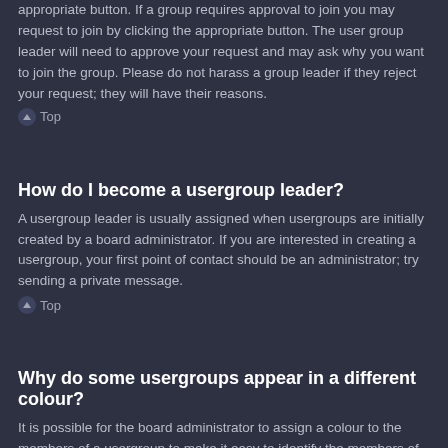appropriate button. If a group requires approval to join you may request to join by clicking the appropriate button. The user group leader will need to approve your request and may ask why you want to join the group. Please do not harass a group leader if they reject your request; they will have their reasons.
Top
How do I become a usergroup leader?
A usergroup leader is usually assigned when usergroups are initially created by a board administrator. If you are interested in creating a usergroup, your first point of contact should be an administrator; try sending a private message.
Top
Why do some usergroups appear in a different colour?
It is possible for the board administrator to assign a colour to the members of a usergroup to make it easy to identify the members of this group.
Top
What is a “Default usergroup”?
If you are a member of more than one usergroup, your default is used to